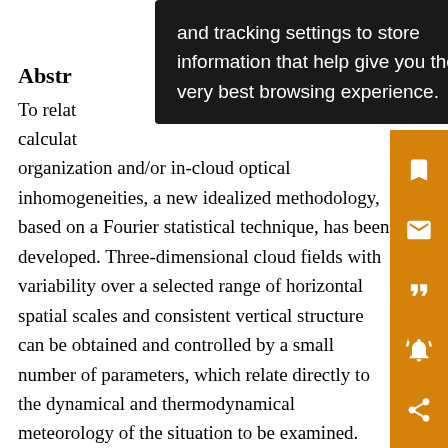[Figure (screenshot): Browser tooltip/cookie notice overlay showing text: 'and tracking settings to store information that help give you the very best browsing experience.']
Abstr
To relat... calculat... organization and/or in-cloud optical inhomogeneities, a new idealized methodology, based on a Fourier statistical technique, has been developed. Three-dimensional cloud fields with variability over a selected range of horizontal spatial scales and consistent vertical structure can be obtained and controlled by a small number of parameters, which relate directly to the dynamical and thermodynamical meteorology of the situation to be examined. This initial study deals with marine stratocumulus. Two experiments are conducted: an overcast situation and a broken cloud case with